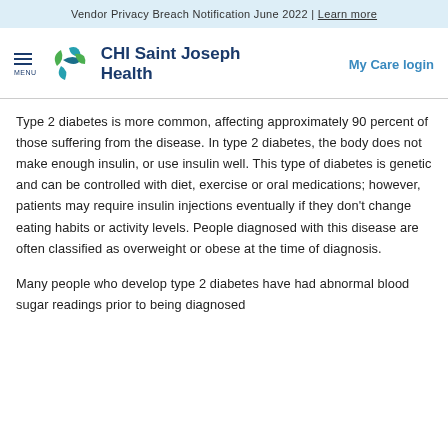Vendor Privacy Breach Notification June 2022 | Learn more
[Figure (logo): CHI Saint Joseph Health logo with green and teal cross icon and navy blue text]
Type 2 diabetes is more common, affecting approximately 90 percent of those suffering from the disease. In type 2 diabetes, the body does not make enough insulin, or use insulin well. This type of diabetes is genetic and can be controlled with diet, exercise or oral medications; however, patients may require insulin injections eventually if they don’t change eating habits or activity levels. People diagnosed with this disease are often classified as overweight or obese at the time of diagnosis.
Many people who develop type 2 diabetes have had abnormal blood sugar readings prior to being diagnosed